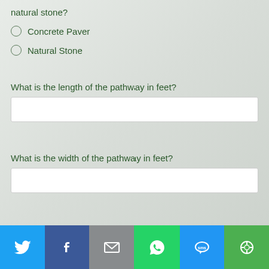natural stone?
Concrete Paver
Natural Stone
What is the length of the pathway in feet?
What is the width of the pathway in feet?
[Figure (screenshot): Footer social sharing bar with Twitter, Facebook, Email, WhatsApp, SMS, and More buttons]